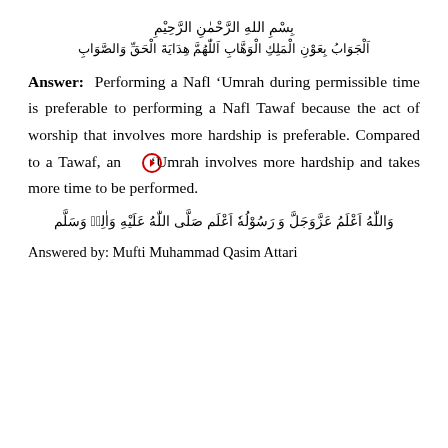بِسْمِ اللَّهِ الرَّحْمٰنِ الرَّحِيْمِ
اَلْجَوَابُ بِعَوْنِ الْمَلِكِ الْوَهَّابِ اَللّٰهُمَّ هِدَايَةَ الْحَقِّ وَالصَّوَابِ
Answer: Performing a Nafl 'Umrah during permissible time is preferable to performing a Nafl Tawaf because the act of worship that involves more hardship is preferable. Compared to a Tawaf, an 'Umrah involves more hardship and takes more time to be performed.
وَاللّٰهُ اَعْلَمُ عَزَّوَجَلَّ وَ رَسُوْلُهٗ اَعْلَم صَلَّى اللّٰهُ عَلَيْهِ وَاٰلِهٖ وَسَلَّم
Answered by: Mufti Muhammad Qasim Attari